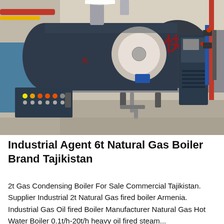[Figure (photo): Industrial gas boiler with Chinese branding (快 character visible), large cylindrical body in dark blue/grey, with control panels on left and right, piping visible, inside an industrial facility.]
Industrial Agent 6t Natural Gas Boiler Brand Tajikistan
2t Gas Condensing Boiler For Sale Commercial Tajikistan. Supplier Industrial 2t Natural Gas fired boiler Armenia. Industrial Gas Oil fired Boiler Manufacturer Natural Gas Hot Water Boiler 0.1t/h-20t/h heavy oil fired steam...